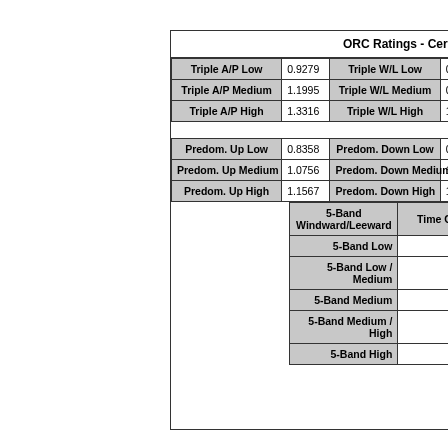ORC Ratings - Cert. Ref.:
| Triple A/P Low | 0.9279 | Triple W/L Low | 0.7... | Triple A/P Medium | 1.1995 | Triple W/L Medium | 0.9... | Triple A/P High | 1.3316 | Triple W/L High | 1.1... |
| --- | --- | --- | --- | --- | --- | --- | --- | --- | --- | --- | --- |
| Triple A/P Low | 0.9279 | Triple W/L Low | 0.7… |
| Triple A/P Medium | 1.1995 | Triple W/L Medium | 0.9… |
| Triple A/P High | 1.3316 | Triple W/L High | 1.1… |
| Predom. Up Low | 0.8358 | Predom. Down Low | 0.8… | Predom. Up Medium | 1.0756 | Predom. Down Medium | 1.1… | Predom. Up High | 1.1567 | Predom. Down High | 1.3… |
| --- | --- | --- | --- | --- | --- | --- | --- | --- | --- | --- | --- |
| Predom. Up Low | 0.8358 | Predom. Down Low | 0.8… |
| Predom. Up Medium | 1.0756 | Predom. Down Medium | 1.1… |
| Predom. Up High | 1.1567 | Predom. Down High | 1.3… |
| 5-Band Windward/Leeward | Time On D… |
| --- | --- |
| 5-Band Low | 910.70… |
| 5-Band Low / Medium | 763.20… |
| 5-Band Medium | 607.00… |
| 5-Band Medium / High | 551.80… |
| 5-Band High | 523.90… |